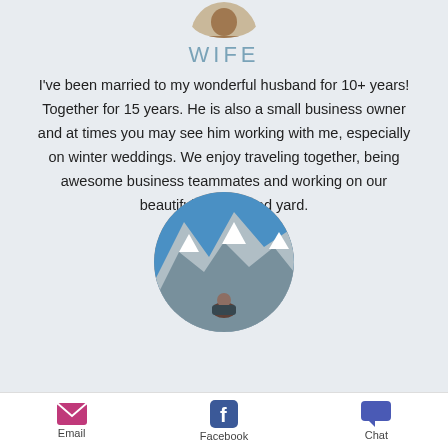WIFE
I've been married to my wonderful husband for 10+ years! Together for 15 years. He is also a small business owner and at times you may see him working with me, especially on winter weddings. We enjoy traveling together, being awesome business teammates and working on our beautiful garden and yard.
[Figure (photo): Circular cropped photo of a person in front of snow-capped mountains]
Email   Facebook   Chat